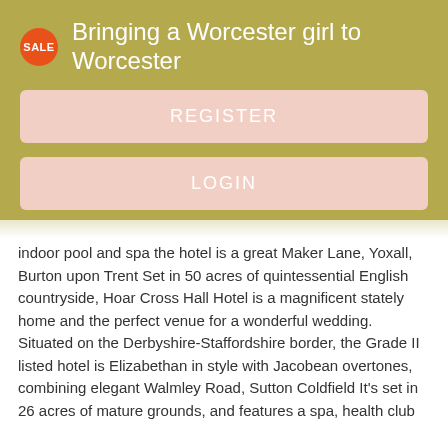Bringing a Worcester girl to Worcester
REGISTER
LOGIN
CONTACT US
indoor pool and spa the hotel is a great Maker Lane, Yoxall, Burton upon Trent Set in 50 acres of quintessential English countryside, Hoar Cross Hall Hotel is a magnificent stately home and the perfect venue for a wonderful wedding.
Situated on the Derbyshire-Staffordshire border, the Grade II listed hotel is Elizabethan in style with Jacobean overtones, combining elegant Walmley Road, Sutton Coldfield It's set in 26 acres of mature grounds, and features a spa, health club